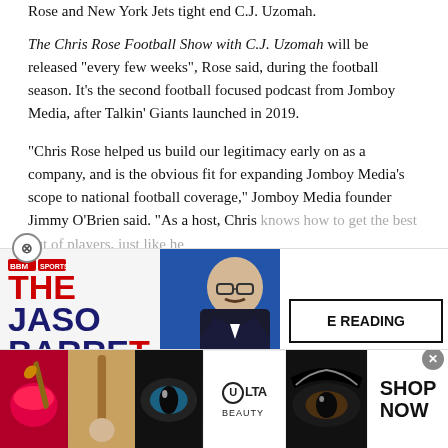Rose and New York Jets tight end C.J. Uzomah.
The Chris Rose Football Show with C.J. Uzomah will be released “every few weeks”, Rose said, during the football season. It’s the second football focused podcast from Jomboy Media, after Talkin’ Giants launched in 2019.
“Chris Rose helped us build our legitimacy early on as a company, and is the obvious fit for expanding Jomboy Media’s scope to national football coverage,” Jomboy Media founder Jimmy O’Brien said. “As a host, Chris knows how to get the best out of players, just like he
[Figure (other): Advertisement: The Jason Barrett Podcast featuring Paul Finebaum Knows the Power]
[Figure (other): Continue Reading button overlay]
[Figure (other): Bottom banner advertisement for Ulta Beauty with makeup imagery and Shop Now call to action]